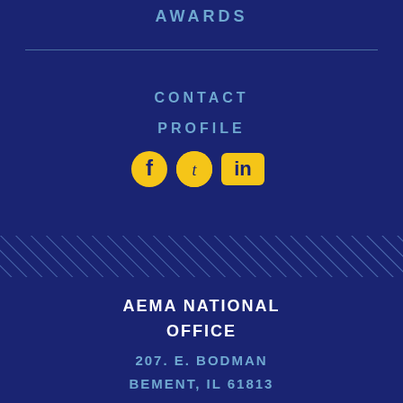AWARDS
CONTACT
PROFILE
[Figure (illustration): Social media icons: Facebook, Twitter, and LinkedIn logos in yellow/gold color]
[Figure (illustration): Diagonal hatching band / decorative stripe pattern in light blue on dark blue background]
AEMA NATIONAL OFFICE
207. E. BODMAN
BEMENT, IL 61813